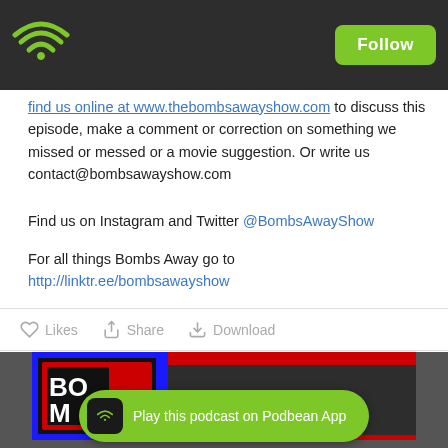Podbean app header with wifi logo and Follow button
Find us online at www.thebombsawayshow.com to discuss this episode, make a comment or correction on something we missed or messed or a movie suggestion. Or write us contact@bombsawayshow.com
Find us on Instagram and Twitter @BombsAwayShow
For all things Bombs Away go to http://linktr.ee/bombsawayshow
Likes  Share  Download
[Figure (photo): Bottom section showing a podcast VHS-style cover art image and a green Podbean app play banner]